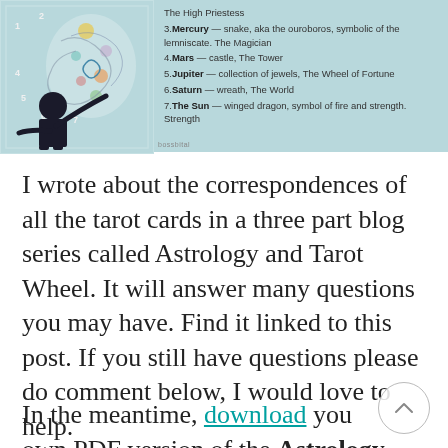[Figure (illustration): Tarot card illustration showing a figure in black silhouette gesturing toward a decorative tree/pattern with numbered elements 1-7, on a light blue background. Beside it is a list panel with planetary correspondences.]
The High Priestess
3. Mercury — snake, aka the ouroboros, symbolic of the lemniscate. The Magician
4. Mars — castle, The Tower
5. Jupiter — collection of jewels, The Wheel of Fortune
6. Saturn — wreath, The World
7. The Sun — winged dragon, symbol of fire and strength. Strength
I wrote about the correspondences of all the tarot cards in a three part blog series called Astrology and Tarot Wheel. It will answer many questions you may have. Find it linked to this post. If you still have questions please do comment below, I would love to help.
In the meantime, download your own PDF version of the Astrology